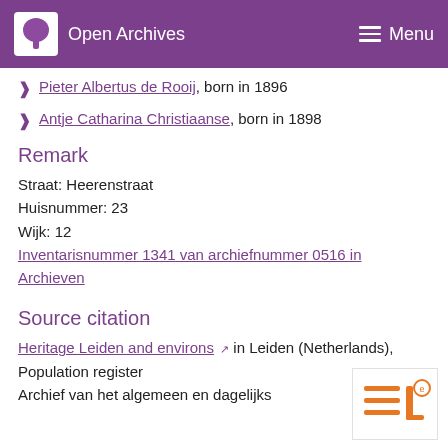Open Archives  Menu
Pieter Albertus de Rooij, born in 1896
Antje Catharina Christiaanse, born in 1898
Remark
Straat: Heerenstraat
Huisnummer: 23
Wijk: 12
Inventarisnummer 1341 van archiefnummer 0516 in Archieven
Source citation
Heritage Leiden and environs in Leiden (Netherlands), Population register Archief van het algemeen en dagelijks